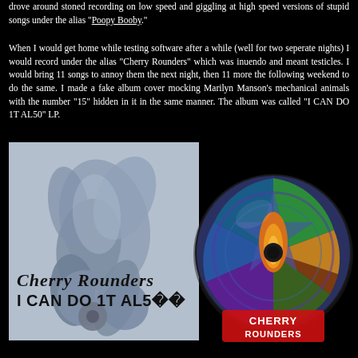drove around stoned recording on low speed and giggling at high speed versions of stupid songs under the alias "Poopy Booby."
When I would get home while testing software after a while (well for two seperate nights) I would record under the alias "Cherry Rounders" which was inuendo and meant testicles. I would bring 11 songs to annoy them the next night, then 11 more the following weekend to do the same. I made a fake album cover mocking Marilyn Manson's mechanical animals with the number "15" hidden in it in the same manner. The album was called "I CAN DO 1T AL50" LP.
[Figure (photo): Left: Album cover for 'Cherry Rounders - I CAN DO 1T AL50' showing a blue-tinted figure in a contorted pose with cursive 'Cherry Rounders' text and bold 'I CAN DO 1T AL50' text. Right: A CD disc with colorful psychedelic artwork and red 'CHERRY ROUNDERS' text at the bottom.]